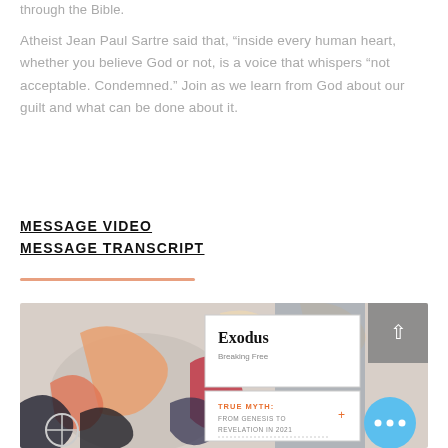through the Bible.
Atheist Jean Paul Sartre said that, “inside every human heart, whether you believe God or not, is a voice that whispers “not acceptable. Condemned.” Join as we learn from God about our guilt and what can be done about it.
MESSAGE VIDEO
MESSAGE TRANSCRIPT
[Figure (photo): A composite image showing an abstract colorful painting on the left side, and two overlaid cards on the right: one reading 'Exodus: Breaking Free' and another reading 'TRUE MYTH: FROM GENESIS TO REVELATION IN 2021'. A back button and a more options button are visible.]